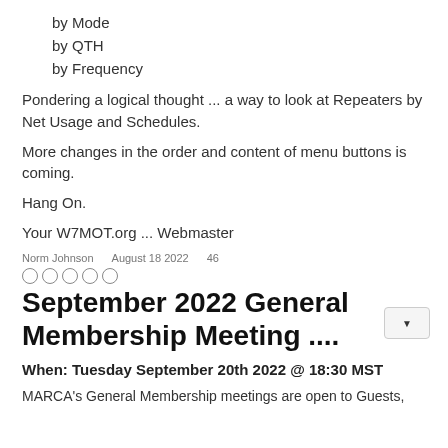by Mode
by QTH
by Frequency
Pondering a logical thought ... a way to look at Repeaters by Net Usage and Schedules.
More changes in the order and content of menu buttons is coming.
Hang On.
Your W7MOT.org ... Webmaster
Norm Johnson    August 18 2022    46
○○○○○
September 2022 General Membership Meeting ....
When: Tuesday September 20th 2022 @ 18:30 MST
MARCA's General Membership meetings are open to Guests,